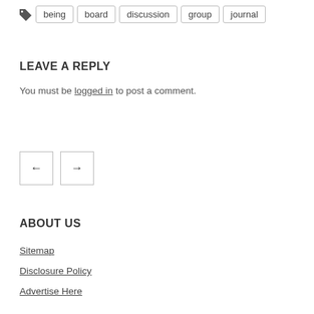being
board
discussion
group
journal
LEAVE A REPLY
You must be logged in to post a comment.
[Figure (other): Navigation arrows: left arrow button and right arrow button]
ABOUT US
Sitemap
Disclosure Policy
Advertise Here